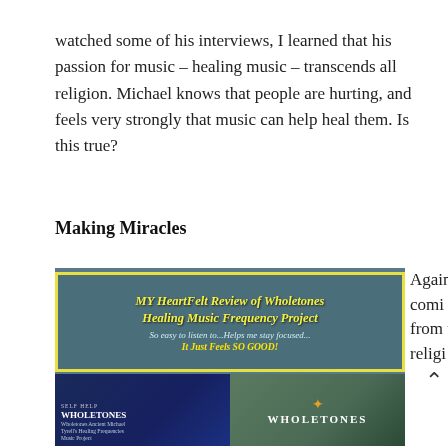watched some of his interviews, I learned that his passion for music – healing music – transcends all religion. Michael knows that people are hurting, and feels very strongly that music can help heal them. Is this true?
Making Miracles
[Figure (photo): Image showing a review card for 'MY HeartFelt Review of Wholetones Healing Music Frequency Project - So easy to listen to...Helps me stay focused... It Just Feels SO GOOD!' with Wholetones book/product images below.]
Again, coming from the religi